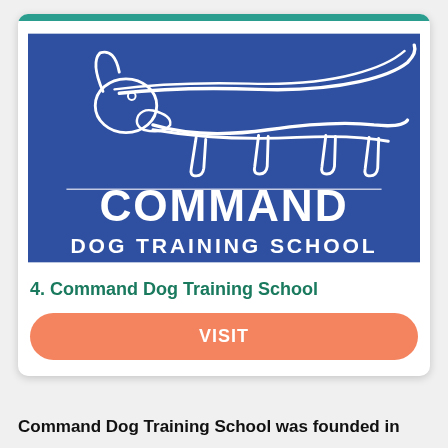[Figure (logo): Command Dog Training School logo: white line-art dog silhouette on blue background with text COMMAND DOG TRAINING SCHOOL]
4. Command Dog Training School
VISIT
Command Dog Training School was founded in